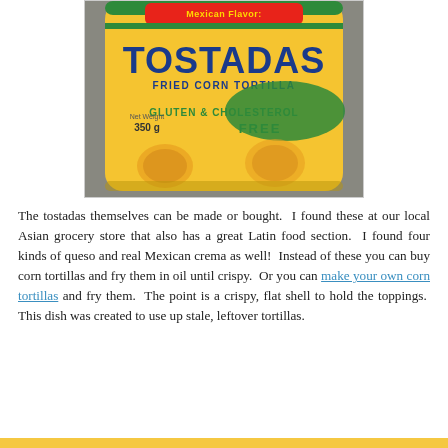[Figure (photo): A yellow bag of Tostadas fried corn tortilla, labeled 'Mexican Flavor', 'Gluten & Cholesterol Free', Net Weight 350g, photographed on a gray surface.]
The tostadas themselves can be made or bought.  I found these at our local Asian grocery store that also has a great Latin food section.  I found four kinds of queso and real Mexican crema as well!  Instead of these you can buy corn tortillas and fry them in oil until crispy.  Or you can make your own corn tortillas and fry them.  The point is a crispy, flat shell to hold the toppings.  This dish was created to use up stale, leftover tortillas.